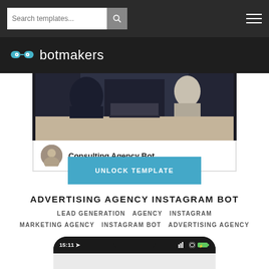Search templates...
[Figure (logo): Botmakers logo with goggles icon and brand name]
[Figure (screenshot): Phone mockup showing a consulting agency bot interface with a meeting photo and 'Consulting Agency Bot' label]
UNLOCK TEMPLATE
ADVERTISING AGENCY INSTAGRAM BOT
LEAD GENERATION  AGENCY  INSTAGRAM
MARKETING AGENCY  INSTAGRAM BOT  ADVERTISING AGENCY
[Figure (screenshot): Bottom portion of a smartphone mockup showing status bar with time 15:11 and signal/battery icons]